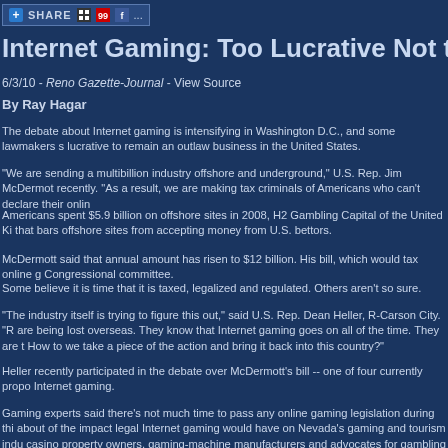[Figure (screenshot): Share bar with plus icon, SHARE text, and social media icons including Digg, StumbleUpon, and Facebook]
Internet Gaming: Too Lucrative Not to Lega
6/3/10 - Reno Gazette-Journal - View Source
By Ray Hagar
The debate about Internet gaming is intensifying in Washington D.C., and some lawmakers s lucrative to remain an outlaw business in the United States.
"We are sending a multibillion industry offshore and underground," U.S. Rep. Jim McDermot recently. "As a result, we are making tax criminals of Americans who can't declare their onlin
Americans spent $5.9 billion on offshore sites in 2008, H2 Gambling Capital of the United Ki that bars offshore sites from accepting money from U.S. bettors.
McDermott said that annual amount has risen to $12 billion. His bill, which would tax online g Congressional committee.
Some believe it is time that it is taxed, legalized and regulated. Others aren't so sure.
"The industry itself is trying to figure this out," said U.S. Rep. Dean Heller, R-Carson City. "R are being lost overseas. They know that Internet gaming goes on all of the time. They are t How to we take a piece of the action and bring it back into this country?"
Heller recently participated in the debate over McDermott's bill -- one of four currently propo Internet gaming.
Gaming experts said there's not much time to pass any online gaming legislation during thi about of the impact legal Internet gaming would have on Nevada's gaming and tourism indu casino property owners, gaming-machine manufacturers and advocates for gambling addic
Major gaming properties in Nevada, such as Harrah's Entertainment and MGM Mirage, are legalization, experts said.